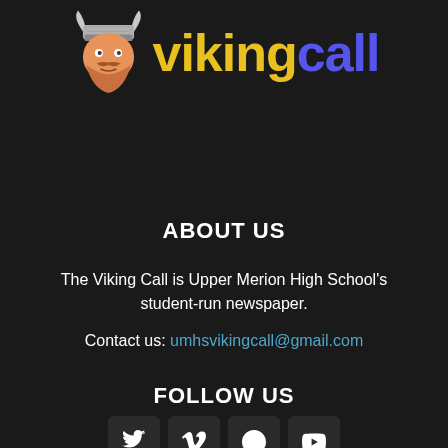[Figure (logo): Viking Call logo: cartoon viking head with horned helmet next to the text 'viking' in yellow and 'call' in blue/purple bold sans-serif font]
ABOUT US
The Viking Call is Upper Merion High School's student-run newspaper.
Contact us: umhsvikingcall@gmail.com
FOLLOW US
[Figure (other): Four social media icon buttons in dark rounded squares: Twitter bird, Vimeo V, VK logo, YouTube play button]